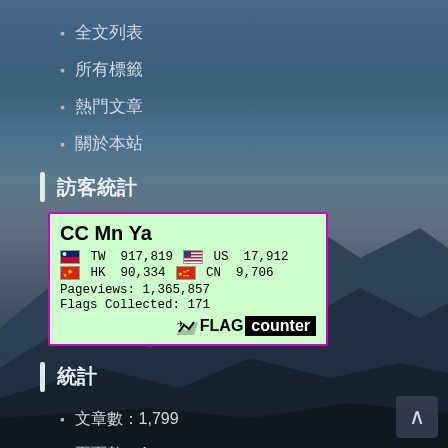全文列表
所有標籤
熱門文章
關於本站
訪客統計
[Figure (infographic): Flag Counter widget showing CC Mn Ya with visitor counts: TW 917,819, US 17,912, HK 90,334, CN 9,706, Pageviews: 1,365,857, Flags Collected: 171]
統計
文章數：1,799
頁面數：4
其他操作